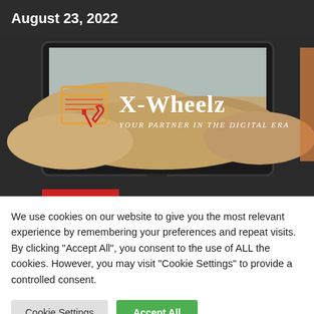August 23, 2022
[Figure (screenshot): Screenshot of a computer monitor displaying the X-Wheelz website with a desert dune background. The logo shows a stylized web/tools icon in red-orange-yellow gradient, large white serif text reading 'X-Wheelz', and italic subtitle 'YOUR PARTNER IN THE DIGITAL ERA'. The monitor sits on a dark background. A red bar is partially visible at the bottom edge.]
We use cookies on our website to give you the most relevant experience by remembering your preferences and repeat visits. By clicking "Accept All", you consent to the use of ALL the cookies. However, you may visit "Cookie Settings" to provide a controlled consent.
Cookie Settings
Accept All